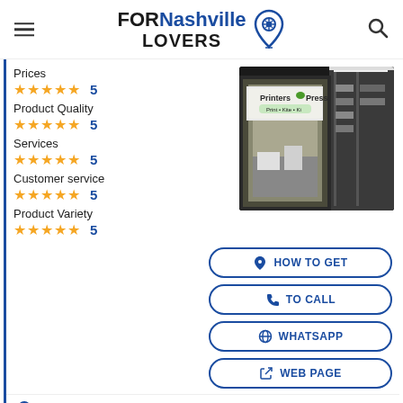FORNashville LOVERS
Prices ★★★★★ 5
Product Quality ★★★★★ 5
[Figure (photo): Printers Press shop front photo showing signage and interior]
Services ★★★★★ 5
Customer service ★★★★★ 5
Product Variety ★★★★★ 5
HOW TO GET
TO CALL
WHATSAPP
WEB PAGE
Address: 1618 State St, Nashville, TN 37203
Schedule: Open · Closes 5PM